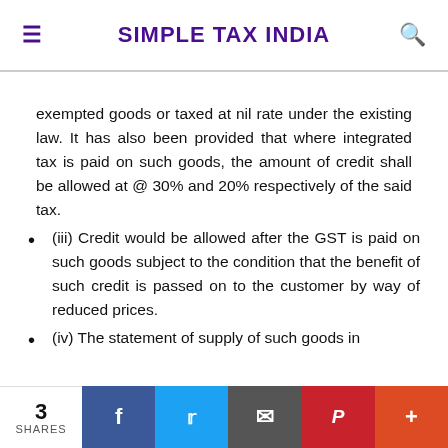SIMPLE TAX INDIA
exempted goods or taxed at nil rate under the existing law. It has also been provided that where integrated tax is paid on such goods, the amount of credit shall be allowed at @ 30% and 20% respectively of the said tax.
(iii) Credit would be allowed after the GST is paid on such goods subject to the condition that the benefit of such credit is passed on to the customer by way of reduced prices.
(iv) The statement of supply of such goods in
3 SHARES | Facebook | Twitter | Email | Pinterest | More